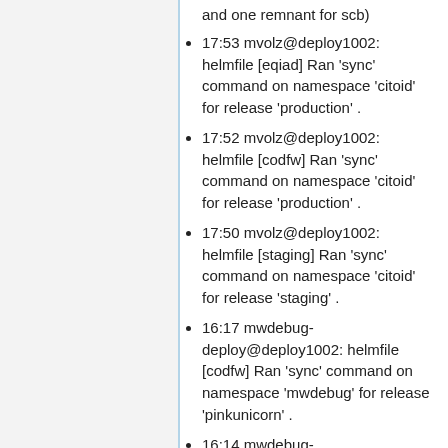and one remnant for scb)
17:53 mvolz@deploy1002: helmfile [eqiad] Ran 'sync' command on namespace 'citoid' for release 'production' .
17:52 mvolz@deploy1002: helmfile [codfw] Ran 'sync' command on namespace 'citoid' for release 'production' .
17:50 mvolz@deploy1002: helmfile [staging] Ran 'sync' command on namespace 'citoid' for release 'staging' .
16:17 mwdebug-deploy@deploy1002: helmfile [codfw] Ran 'sync' command on namespace 'mwdebug' for release 'pinkunicorn' .
16:14 mwdebug-deploy@deploy1002: helmfile [eqiad] Ran 'sync' command on namespace